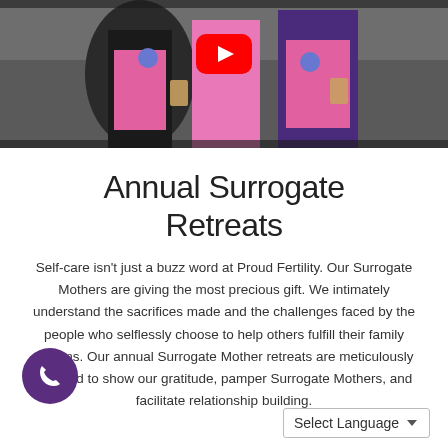[Figure (photo): A photo of three women wearing pink t-shirts standing outdoors, with a YouTube play button overlay in the center top area. The scene appears to be at an outdoor event.]
Annual Surrogate Retreats
Self-care isn't just a buzz word at Proud Fertility. Our Surrogate Mothers are giving the most precious gift. We intimately understand the sacrifices made and the challenges faced by the people who selflessly choose to help others fulfill their family dreams. Our annual Surrogate Mother retreats are meticulously planned to show our gratitude, pamper Surrogate Mothers, and facilitate relationship building.